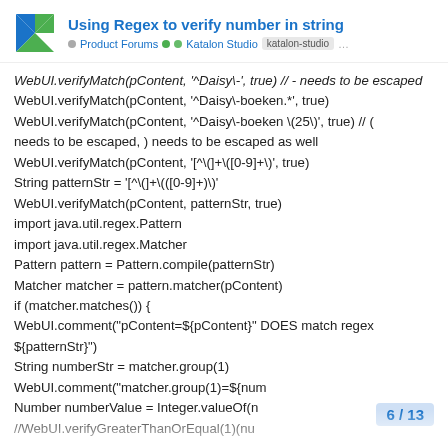Using Regex to verify number in string — Product Forums • Katalon Studio • katalon-studio
WebUI.verifyMatch(pContent, '^Daisy\-', true) // - needs to be escaped
WebUI.verifyMatch(pContent, '^Daisy\-boeken.*', true)
WebUI.verifyMatch(pContent, '^Daisy\-boeken \(25\)', true) // ( needs to be escaped, ) needs to be escaped as well
WebUI.verifyMatch(pContent, '[^\(]+\([0-9]+\)', true)
String patternStr = '[^\(]+\(([0-9]+)\)'
WebUI.verifyMatch(pContent, patternStr, true)
import java.util.regex.Pattern
import java.util.regex.Matcher
Pattern pattern = Pattern.compile(patternStr)
Matcher matcher = pattern.matcher(pContent)
if (matcher.matches()) {
WebUI.comment("pContent=${pContent}" DOES match regex ${patternStr}")
String numberStr = matcher.group(1)
WebUI.comment("matcher.group(1)=${numberStr}")
Number numberValue = Integer.valueOf(n
//WebUI.verifyGreaterThanOrEqual(1)(nu